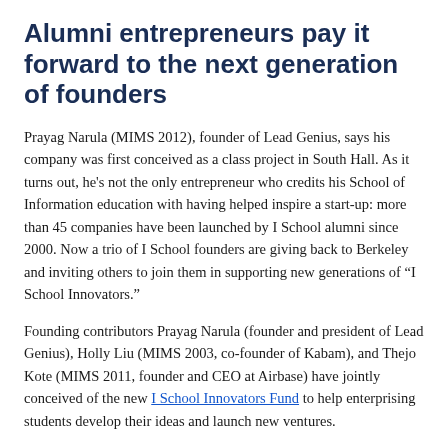Alumni entrepreneurs pay it forward to the next generation of founders
Prayag Narula (MIMS 2012), founder of Lead Genius, says his company was first conceived as a class project in South Hall. As it turns out, he's not the only entrepreneur who credits his School of Information education with having helped inspire a start-up: more than 45 companies have been launched by I School alumni since 2000. Now a trio of I School founders are giving back to Berkeley and inviting others to join them in supporting new generations of “I School Innovators.”
Founding contributors Prayag Narula (founder and president of Lead Genius), Holly Liu (MIMS 2003, co-founder of Kabam), and Thejo Kote (MIMS 2011, founder and CEO at Airbase) have jointly conceived of the new I School Innovators Fund to help enterprising students develop their ideas and launch new ventures.